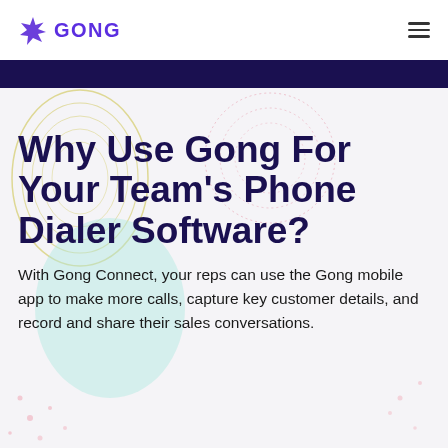GONG
Why Use Gong For Your Team's Phone Dialer Software?
With Gong Connect, your reps can use the Gong mobile app to make more calls, capture key customer details, and record and share their sales conversations.